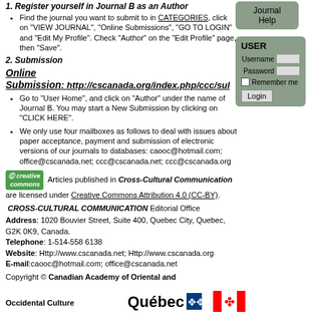1. Register yourself in Journal B as an Author
Find the journal you want to submit to in CATEGORIES, click on "VIEW JOURNAL", "Online Submissions", "GO TO LOGIN" and "Edit My Profile". Check "Author" on the "Edit Profile" page, then "Save".
2. Submission
Online Submission: http://cscanada.org/index.php/ccc/sul
Go to "User Home", and click on "Author" under the name of Journal B. You may start a New Submission by clicking on "CLICK HERE".
We only use four mailboxes as follows to deal with issues about paper acceptance, payment and submission of electronic versions of our journals to databases: caooc@hotmail.com; office@cscanada.net; ccc@cscanada.net; ccc@cscanada.org
Articles published in Cross-Cultural Communication are licensed under Creative Commons Attribution 4.0 (CC-BY).
CROSS-CULTURAL COMMUNICATION Editorial Office
Address: 1020 Bouvier Street, Suite 400, Quebec City, Quebec, G2K 0K9, Canada.
Telephone: 1-514-558 6138
Website: Http://www.cscanada.net; Http://www.cscanada.org
E-mail:caooc@hotmail.com; office@cscanada.net
Copyright © Canadian Academy of Oriental and Occidental Culture
[Figure (logo): Québec logo with fleur-de-lis pattern and Canadian flag with maple leaf]
[Figure (logo): Journal Help button (sidebar)]
[Figure (other): USER login box with Username, Password fields, Remember me checkbox, and Login button]